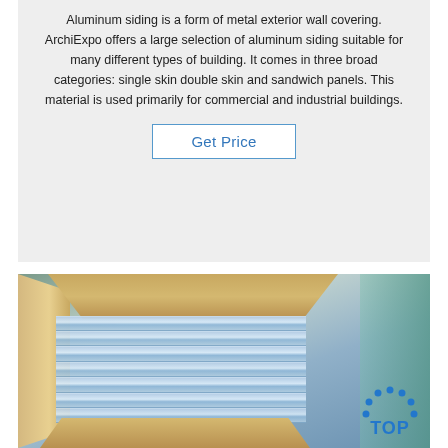Aluminum siding is a form of metal exterior wall covering. ArchiExpo offers a large selection of aluminum siding suitable for many different types of building. It comes in three broad categories: single skin double skin and sandwich panels. This material is used primarily for commercial and industrial buildings.
Get Price
[Figure (photo): Photo of aluminum siding panels stacked and wrapped in brown paper and clear plastic sheeting, viewed from above at an angle.]